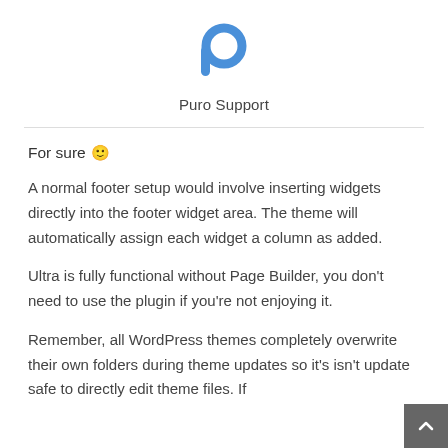[Figure (logo): Puro Support logo — a blue stylized 'p' letter with a circular loop on top]
Puro Support
For sure 🙂
A normal footer setup would involve inserting widgets directly into the footer widget area. The theme will automatically assign each widget a column as added.
Ultra is fully functional without Page Builder, you don't need to use the plugin if you're not enjoying it.
Remember, all WordPress themes completely overwrite their own folders during theme updates so it's isn't update safe to directly edit theme files. If